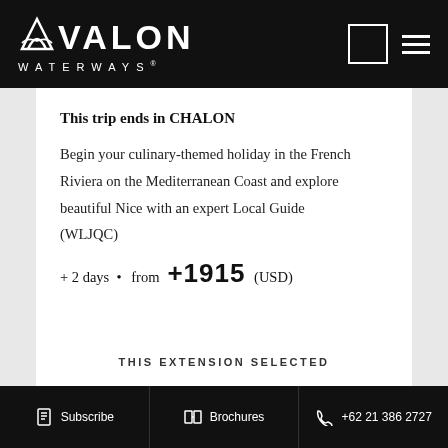AVALON WATERWAYS
This trip ends in CHALON
Begin your culinary-themed holiday in the French Riviera on the Mediterranean Coast and explore beautiful Nice with an expert Local Guide (WLJQC)
+ 2 days • from +1915 (USD)
THIS EXTENSION SELECTED
Subscribe   Brochures   +62 21 386 2727